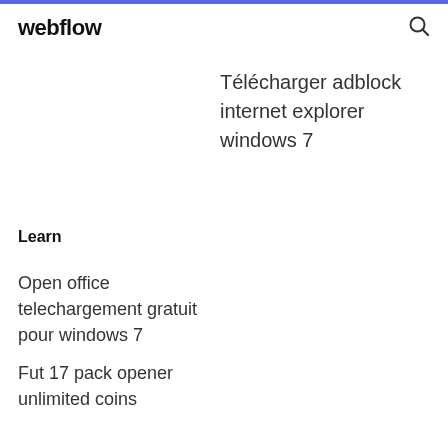webflow
Télécharger adblock internet explorer windows 7
Learn
Open office telechargement gratuit pour windows 7
Fut 17 pack opener unlimited coins